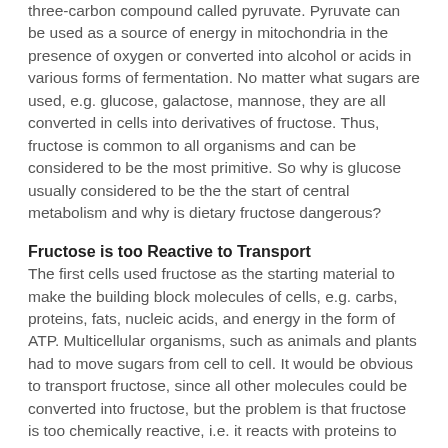three-carbon compound called pyruvate. Pyruvate can be used as a source of energy in mitochondria in the presence of oxygen or converted into alcohol or acids in various forms of fermentation. No matter what sugars are used, e.g. glucose, galactose, mannose, they are all converted in cells into derivatives of fructose. Thus, fructose is common to all organisms and can be considered to be the most primitive. So why is glucose usually considered to be the the start of central metabolism and why is dietary fructose dangerous?
Fructose is too Reactive to Transport
The first cells used fructose as the starting material to make the building block molecules of cells, e.g. carbs, proteins, fats, nucleic acids, and energy in the form of ATP. Multicellular organisms, such as animals and plants had to move sugars from cell to cell. It would be obvious to transport fructose, since all other molecules could be converted into fructose, but the problem is that fructose is too chemically reactive, i.e. it reacts with proteins to form AGE. It is for that reason that fructose is converted by cells into glucose, which is less than one tenth as chemically reactive. In plants, the reactive groups of glucose and fructose are joined to each other to make sucrose, which is